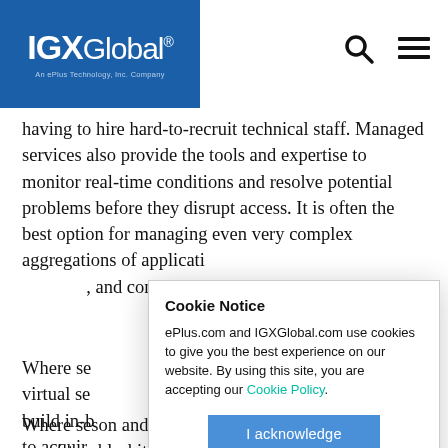IGXGlobal. An ePlus Technology, Inc. Company
having to hire hard-to-recruit technical staff. Managed services also provide the tools and expertise to monitor real-time conditions and resolve potential problems before they disrupt access. It is often the best option for managing even very complex aggregations of applications, and connections.
Where se... son and virtual se... and build in-b... workers to acquir... troublesh... ity infrastru...
Cookie Notice
ePlus.com and IGXGlobal.com use cookies to give you the best experience on our website. By using this site, you are accepting our Cookie Policy.
I acknowledge